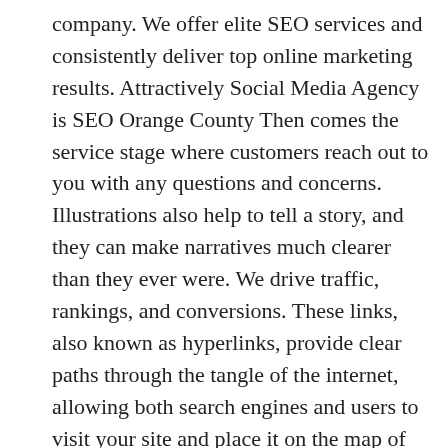company. We offer elite SEO services and consistently deliver top online marketing results. Attractively Social Media Agency is SEO Orange County Then comes the service stage where customers reach out to you with any questions and concerns. Illustrations also help to tell a story, and they can make narratives much clearer than they ever were. We drive traffic, rankings, and conversions. These links, also known as hyperlinks, provide clear paths through the tangle of the internet, allowing both search engines and users to visit your site and place it on the map of search results. We don’t want that to happen to any of our clients, and that’s why we are committed to staying up to date with the latest and most important SEO technologies.